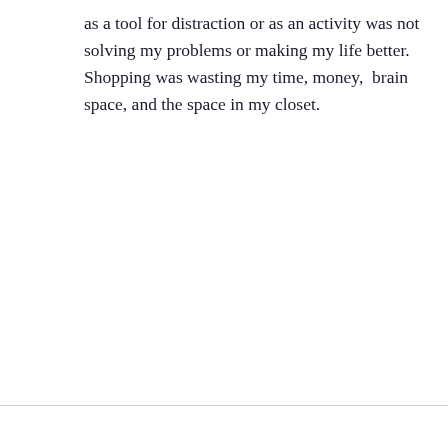as a tool for distraction or as an activity was not solving my problems or making my life better. Shopping was wasting my time, money,  brain space, and the space in my closet.